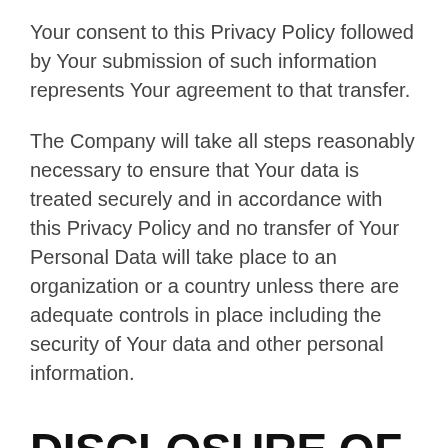Your consent to this Privacy Policy followed by Your submission of such information represents Your agreement to that transfer.
The Company will take all steps reasonably necessary to ensure that Your data is treated securely and in accordance with this Privacy Policy and no transfer of Your Personal Data will take place to an organization or a country unless there are adequate controls in place including the security of Your data and other personal information.
DISCLOSURE OF YOUR PERSONAL DATA